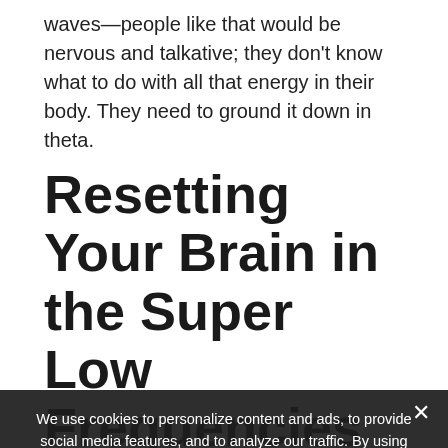waves—people like that would be nervous and talkative; they don't know what to do with all that energy in their body. They need to ground it down in theta.
Resetting Your Brain in the Super Low Frequencies Readies You for...
Judith:    There are a lot of studies these days—especially Siegfried... back pioneer and Chief Scientist of the EEG Institute, has talked a lot about this—about how t... resets down in the super low frequencies it resets from illness, from...
We use cookies to personalize content and ads, to provide social media features, and to analyze our traffic. By using our website, you consent to our cookies as described in the Cookie Policy.